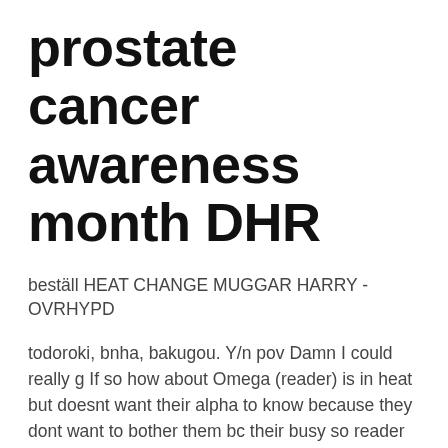prostate cancer awareness month DHR
beställ HEAT CHANGE MUGGAR HARRY - OVRHYPD
todoroki, bnha, bakugou. Y/n pov Damn I could really g If so how about Omega (reader) is in heat but doesnt want their alpha to know because they dont want to bother them bc their busy so reader steers clear of them. But they find out anyway 😊 (Bakugo, Shoto and Dabi) Tell me if this isn't clear